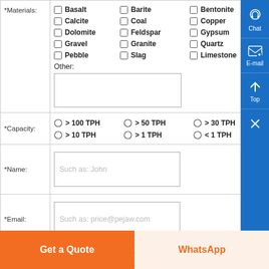| Field | Value |
| --- | --- |
| *Materials: | Basalt, Barite, Bentonite, Calcite, Coal, Copper, Dolomite, Feldspar, Gypsum, Gravel, Granite, Quartz, Pebble, Slag, Limestone, Other: [text area] |
| *Capacity: | > 100 TPH, > 50 TPH, > 30 TPH, > 10 TPH, > 1 TPH, < 1 TPH |
| *Name: | Such as: John |
| *Email: | Such as: price@pejaw.com |
Get a Quote
WhatsApp